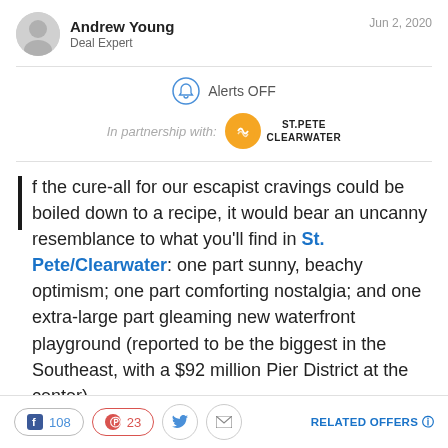Andrew Young | Deal Expert | Jun 2, 2020
Alerts OFF
In partnership with: ST.PETE CLEARWATER
If the cure-all for our escapist cravings could be boiled down to a recipe, it would bear an uncanny resemblance to what you'll find in St. Pete/Clearwater: one part sunny, beachy optimism; one part comforting nostalgia; and one extra-large part gleaming new waterfront playground (reported to be the biggest in the Southeast, with a $92 million Pier District at the center).
108  23  RELATED OFFERS